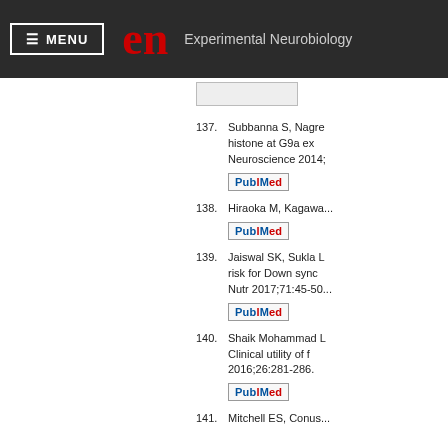MENU | en Experimental Neurobiology
137. Subbanna S, Nagre... histone at G9a ex... Neuroscience 2014;
138. Hiraoka M, Kagawa...
139. Jaiswal SK, Sukla L... risk for Down sync... Nutr 2017;71:45-50...
140. Shaik Mohammad L... Clinical utility of f... 2016;26:281-286.
141. Mitchell ES, Conus...